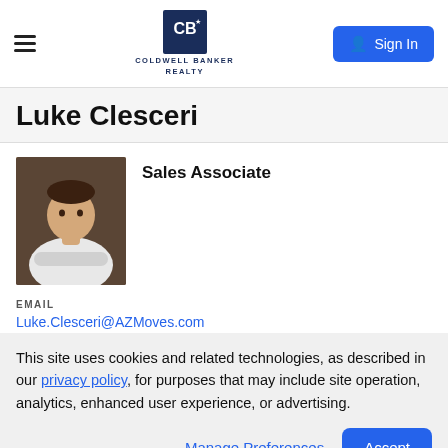Coldwell Banker Realty — Sign In
Luke Clesceri
[Figure (photo): Professional headshot of Luke Clesceri, a man in a white shirt with arms crossed, against a dark background]
Sales Associate
EMAIL
Luke.Clesceri@AZMoves.com
PHONE
(602) 510-5438 direct
This site uses cookies and related technologies, as described in our privacy policy, for purposes that may include site operation, analytics, enhanced user experience, or advertising.
Manage Preferences
Accept
OFFICE